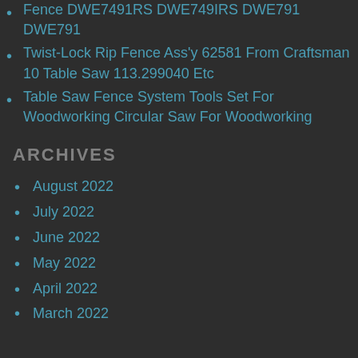Fence DWE7491RS DWE749IRS DWE791 DWE791
Twist-Lock Rip Fence Ass'y 62581 From Craftsman 10 Table Saw 113.299040 Etc
Table Saw Fence System Tools Set For Woodworking Circular Saw For Woodworking
ARCHIVES
August 2022
July 2022
June 2022
May 2022
April 2022
March 2022